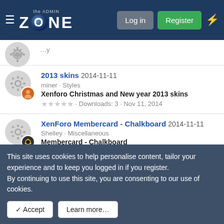[Figure (screenshot): The Admin Zone website navigation bar with hamburger menu, logo, Log in button, Register button, and lightning bolt icon]
2013 skins 2014-11-11
miner · Styles
Xenforo Christmas and New year 2013 skins
★★★★★ · Downloads: 3 · Nov 11, 2014
XenForo Membercard - Chalkboard 2014-11-11
Shelley · Miscellaneous
Membercard - Chalkboard
★★★★★ · Downloads: 1 · Nov 11, 2014
XenForo [Xenforo] MemberCard - Onyx 2014-11-11
Shelley · Miscellaneous
This site uses cookies to help personalise content, tailor your experience and to keep you logged in if you register.
By continuing to use this site, you are consenting to our use of cookies.